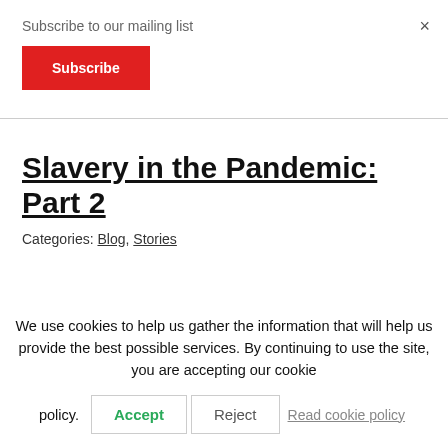Subscribe to our mailing list
Subscribe
×
Slavery in the Pandemic: Part 2
Categories: Blog, Stories
We use cookies to help us gather the information that will help us provide the best possible services. By continuing to use the site, you are accepting our cookie policy.
Accept
Reject
Read cookie policy